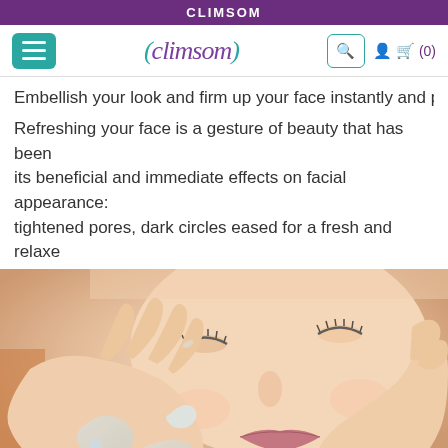CLIMSOM
[Figure (screenshot): Navigation bar with hamburger menu, Climsom logo, search icon, user icon and cart showing (0)]
Embellish your look and firm up your face instantly and pe
Refreshing your face is a gesture of beauty that has been its beneficial and immediate effects on facial appearance: tightened pores, dark circles eased for a fresh and relaxe
[Figure (photo): Woman washing her face with water, eyes closed, hands pressed against her cheeks with water splashing]
ADD TO BASKET